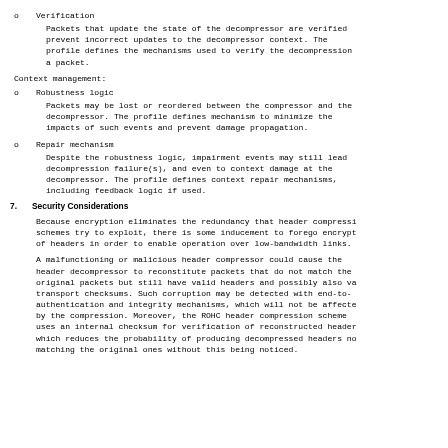o   Verification
Packets that update the state of the decompressor are verified to prevent incorrect updates to the decompressor context.  The profile defines the mechanisms used to verify the decompression of a packet.
Context management:
o   Robustness logic
Packets may be lost or reordered between the compressor and the decompressor.  The profile defines mechanism to minimize the impacts of such events and prevent damage propagation.
o   Repair mechanism
Despite the robustness logic, impairment events may still lead to decompression failure(s), and even to context damage at the decompressor.  The profile defines context repair mechanisms, including feedback logic if used.
7.  Security Considerations
Because encryption eliminates the redundancy that header compression schemes try to exploit, there is some inducement to forego encryption of headers in order to enable operation over low-bandwidth links.
A malfunctioning or malicious header compressor could cause the header decompressor to reconstitute packets that do not match the original packets but still have valid headers and possibly also valid transport checksums.  Such corruption may be detected with end-to-end authentication and integrity mechanisms, which will not be affected by the compression.  Moreover, the ROHC header compression scheme uses an internal checksum for verification of reconstructed headers, which reduces the probability of producing decompressed headers not matching the original ones without this being noticed.